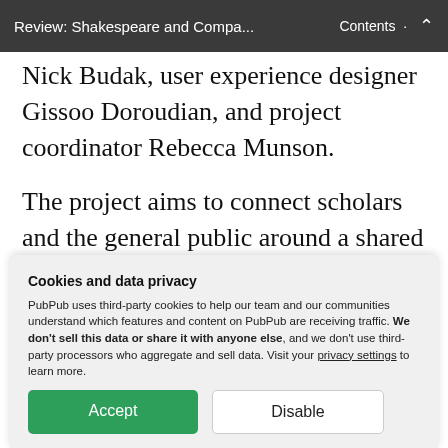Review: Shakespeare and Compa...   Contents  ˄
Nick Budak, user experience designer Gissoo Doroudian, and project coordinator Rebecca Munson.
The project aims to connect scholars and the general public around a shared interest in the cultural history of interwar Paris and the writers of the Lost Generation. Visit...
Cookies and data privacy
PubPub uses third-party cookies to help our team and our communities understand which features and content on PubPub are receiving traffic. We don't sell this data or share it with anyone else, and we don't use third-party processors who aggregate and sell data. Visit your privacy settings to learn more.
Accept
Disable